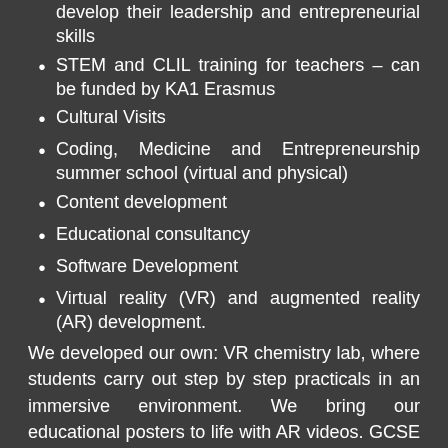develop their leadership and entrepreneurial skills
STEM and CLIL training for teachers – can be funded by KA1 Erasmus
Cultural Visits
Coding, Medicine and Entrepreneurship summer school (virtual and physical)
Content development
Educational consultancy
Software Development
Virtual reality (VR) and augmented reality (AR) development.
We developed our own: VR chemistry lab, where students carry out step by step practicals in an immersive environment. We bring our educational posters to life with AR videos. GCSE level mobile game, which combines various STEM subjects and